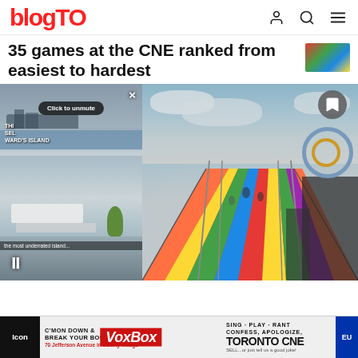blogTO
35 games at the CNE ranked from easiest to hardest
[Figure (screenshot): A video thumbnail showing Ward's Island waterfront with benches, water, and city skyline in background. Overlay shows 'Click to unmute' button, close X, video label 'THIS SELF WARD'S ISLAND', caption 'the most underrated island...', and pause button.]
[Figure (photo): Photo of a large colorful rainbow-striped slide at the CNE fairground against a cloudy sky, with a hoop toss game visible on the right side.]
[Figure (infographic): Advertisement banner for VoxBox at 70 Jefferson Avenue in Liberty Village. Text includes: C'MON DOWN & BREAK YOUR BOUNDS, SING · PLAY · RANT CONFESS, APOLOGIZE, SELL...or just tell us a good joke! Toronto CNE branding visible.]